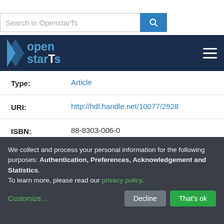Search in OpenstarTs
[Figure (logo): OpenstarTs navigation bar with logo and hamburger menu]
| Field | Value |
| --- | --- |
| Type: | Article |
| URI: | http://hdl.handle.net/10077/2928 |
| ISBN: | 88-8303-006-0 |
| Appears in Collections: | Rivista internazionale di tecnica della traduzione n.03 - 1998 |
We collect and process your personal information for the following purposes: Authentication, Preferences, Acknowledgement and Statistics. To learn more, please read our privacy policy.
Customize... Decline That's ok